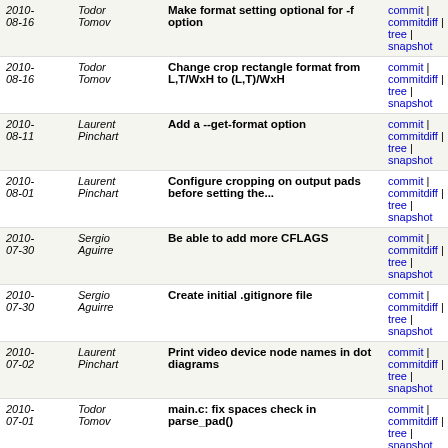| Date | Author | Message | Links |
| --- | --- | --- | --- |
| 2010-08-16 | Todor Tomov | Make format setting optional for -f option | commit | commitdiff | tree | snapshot |
| 2010-08-16 | Todor Tomov | Change crop rectangle format from L,T/WxH to (L,T)/WxH | commit | commitdiff | tree | snapshot |
| 2010-08-11 | Laurent Pinchart | Add a --get-format option | commit | commitdiff | tree | snapshot |
| 2010-08-01 | Laurent Pinchart | Configure cropping on output pads before setting the... | commit | commitdiff | tree | snapshot |
| 2010-07-30 | Sergio Aguirre | Be able to add more CFLAGS | commit | commitdiff | tree | snapshot |
| 2010-07-30 | Sergio Aguirre | Create initial .gitignore file | commit | commitdiff | tree | snapshot |
| 2010-07-02 | Laurent Pinchart | Print video device node names in dot diagrams | commit | commitdiff | tree | snapshot |
| 2010-07-01 | Todor Tomov | main.c: fix spaces check in parse_pad() | commit | commitdiff | tree | snapshot |
| 2010-07-01 | Laurent Pinchart | Print crop rectangle when printing the topology | commit | commitdiff | tree | snapshot |
| 2010-07-01 | Todor Tomov | V4L2 subdev frame interval support | commit | commitdiff | tree | snapshot |
| 2010- | Laurent | V4L2 subdev crop support | commit | |